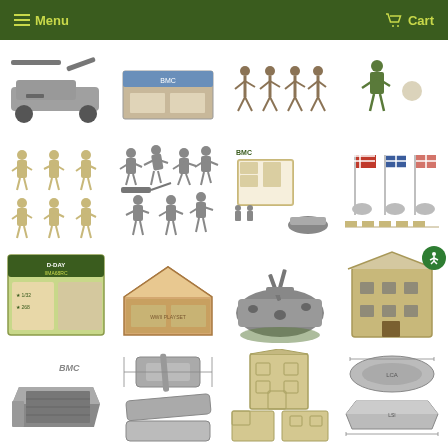Menu  Cart
[Figure (screenshot): E-commerce grid of military toy soldier product images: plastic army men figures, WWII playsets, landing craft, bunkers, buildings, and accessories on white backgrounds. Green navigation header with Menu and Cart links. 4-column product image grid showing approximately 16 items across 4 rows.]